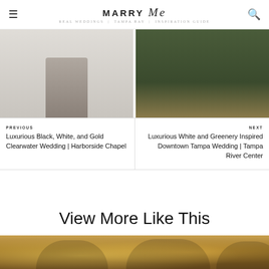MARRY Me TAMPA BAY
[Figure (photo): Wedding couple standing at altar in bright white venue — previous post thumbnail]
[Figure (photo): Greenery wall backdrop with M|G monogram letters — next post thumbnail]
PREVIOUS
Luxurious Black, White, and Gold Clearwater Wedding | Harborside Chapel
NEXT
Luxurious White and Greenery Inspired Downtown Tampa Wedding | Tampa River Center
View More Like This
[Figure (photo): Partial view of a warmly lit wedding reception venue with gold chandeliers]